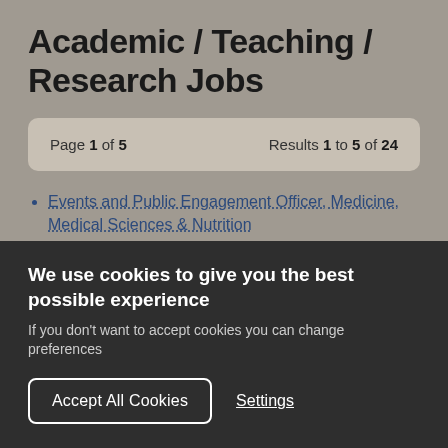Academic / Teaching / Research Jobs
Page 1 of 5    Results 1 to 5 of 24
Events and Public Engagement Officer, Medicine, Medical Sciences & Nutrition
Teaching Fellow/Lecturer (Scholarship) in Psychology,
We use cookies to give you the best possible experience
If you don't want to accept cookies you can change preferences
Accept All Cookies   Settings